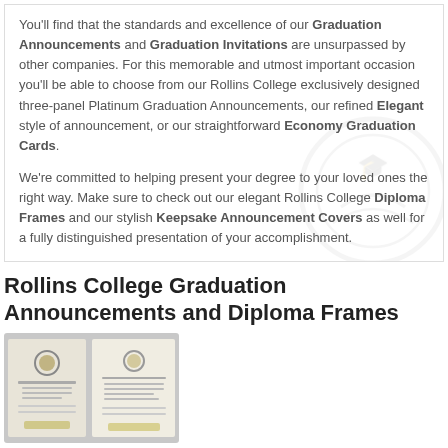You'll find that the standards and excellence of our Graduation Announcements and Graduation Invitations are unsurpassed by other companies. For this memorable and utmost important occasion you'll be able to choose from our Rollins College exclusively designed three-panel Platinum Graduation Announcements, our refined Elegant style of announcement, or our straightforward Economy Graduation Cards.
We're committed to helping present your degree to your loved ones the right way. Make sure to check out our elegant Rollins College Diploma Frames and our stylish Keepsake Announcement Covers as well for a fully distinguished presentation of your accomplishment.
Rollins College Graduation Announcements and Diploma Frames
[Figure (photo): Photo of diploma frames and graduation announcements products]
[Figure (illustration): Graduation cap icon with gold tassel]
Platinum Rollins College Graduation Announcements
Our Professional Platinum Tri-Panel Rollins College Graduation Announcement actually opens both up